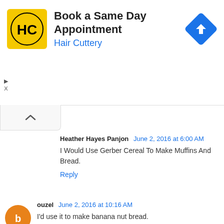[Figure (logo): Hair Cuttery advertisement banner with HC logo, text 'Book a Same Day Appointment' and 'Hair Cuttery', and a blue diamond navigation arrow icon]
Heather Hayes Panjon June 2, 2016 at 6:00 AM
I Would Use Gerber Cereal To Make Muffins And Bread.
Reply
[Figure (illustration): Orange circular Blogger avatar icon with letter B]
ouzel June 2, 2016 at 10:16 AM
I'd use it to make banana nut bread.
Which, in my opinion is the only reason bananas were created.
For banana nut bread. :)
thanks!
Reply